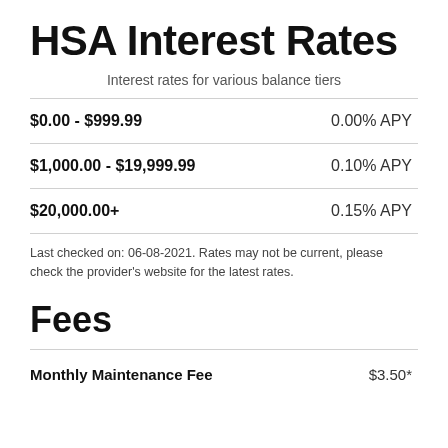HSA Interest Rates
Interest rates for various balance tiers
| Balance Range | Rate |
| --- | --- |
| $0.00 - $999.99 | 0.00% APY |
| $1,000.00 - $19,999.99 | 0.10% APY |
| $20,000.00+ | 0.15% APY |
Last checked on: 06-08-2021. Rates may not be current, please check the provider's website for the latest rates.
Fees
| Fee Type | Amount |
| --- | --- |
| Monthly Maintenance Fee | $3.50* |